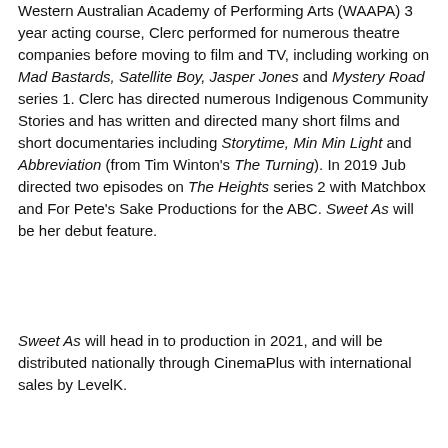Western Australian Academy of Performing Arts (WAAPA) 3 year acting course, Clerc performed for numerous theatre companies before moving to film and TV, including working on Mad Bastards, Satellite Boy, Jasper Jones and Mystery Road series 1. Clerc has directed numerous Indigenous Community Stories and has written and directed many short films and short documentaries including Storytime, Min Min Light and Abbreviation (from Tim Winton's The Turning). In 2019 Jub directed two episodes on The Heights series 2 with Matchbox and For Pete's Sake Productions for the ABC. Sweet As will be her debut feature.
Sweet As will head in to production in 2021, and will be distributed nationally through CinemaPlus with international sales by LevelK.